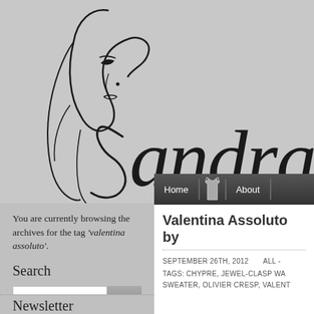[Figure (logo): Sandra's Closet fashion blog logo featuring an illustrated woman's face with flowing hair and cursive script text reading 'Sandra's Cl' (partially cropped)]
[Figure (screenshot): Navigation bar with dark gradient background showing 'Home' and 'About' menu items with a coat icon between them]
You are currently browsing the archives for the tag 'valentina assoluto'.
Search
[Figure (screenshot): Search input box with a Go button]
Newsletter
Valentina Assoluto by
SEPTEMBER 26TH, 2012    ALL -
TAGS: CHYPRE, JEWEL-CLASP WA SWEATER, OLIVIER CRESP, VALENT